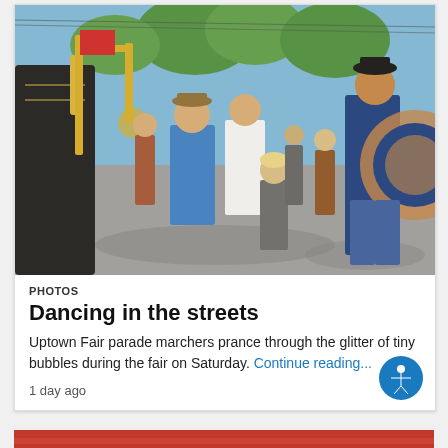[Figure (photo): Outdoor street parade scene with a marching band playing brass instruments including tuba and trombone. A young child stands in the middle of the street watching the musicians. People are dressed in summer clothing and band uniforms. Trees and sunshine in background.]
PHOTOS
Dancing in the streets
Uptown Fair parade marchers prance through the glitter of tiny bubbles during the fair on Saturday. Continue reading...
1 day ago